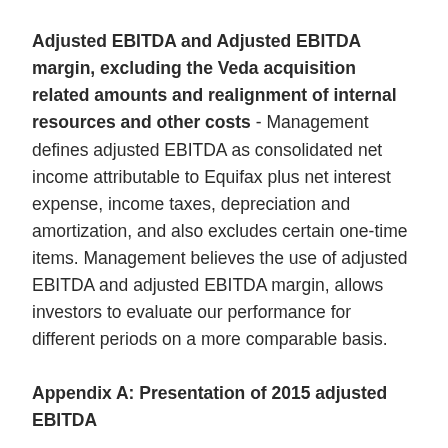Adjusted EBITDA and Adjusted EBITDA margin, excluding the Veda acquisition related amounts and realignment of internal resources and other costs - Management defines adjusted EBITDA as consolidated net income attributable to Equifax plus net interest expense, income taxes, depreciation and amortization, and also excludes certain one-time items. Management believes the use of adjusted EBITDA and adjusted EBITDA margin, allows investors to evaluate our performance for different periods on a more comparable basis.
Appendix A: Presentation of 2015 adjusted EBITDA